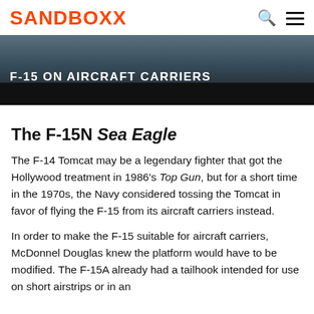SANDBOXX
[Figure (photo): Dark aerial/ocean background image with white bold text overlay reading 'F-15 ON AIRCRAFT CARRIERS', with a black bar at the bottom]
The F-15N Sea Eagle
The F-14 Tomcat may be a legendary fighter that got the Hollywood treatment in 1986's Top Gun, but for a short time in the 1970s, the Navy considered tossing the Tomcat in favor of flying the F-15 from its aircraft carriers instead.
In order to make the F-15 suitable for aircraft carriers, McDonnel Douglas knew the platform would have to be modified. The F-15A already had a tailhook intended for use on short airstrips or in an